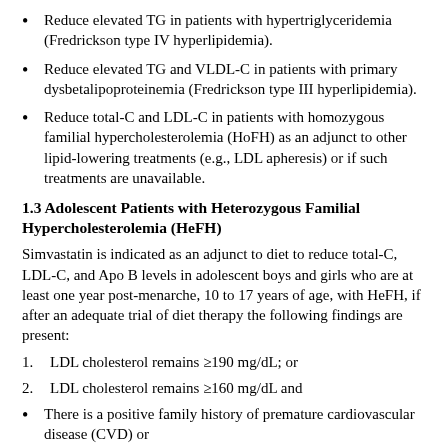Reduce elevated TG in patients with hypertriglyceridemia (Fredrickson type IV hyperlipidemia).
Reduce elevated TG and VLDL-C in patients with primary dysbetalipoproteinemia (Fredrickson type III hyperlipidemia).
Reduce total-C and LDL-C in patients with homozygous familial hypercholesterolemia (HoFH) as an adjunct to other lipid-lowering treatments (e.g., LDL apheresis) or if such treatments are unavailable.
1.3 Adolescent Patients with Heterozygous Familial Hypercholesterolemia (HeFH)
Simvastatin is indicated as an adjunct to diet to reduce total-C, LDL-C, and Apo B levels in adolescent boys and girls who are at least one year post-menarche, 10 to 17 years of age, with HeFH, if after an adequate trial of diet therapy the following findings are present:
LDL cholesterol remains ≥190 mg/dL; or
LDL cholesterol remains ≥160 mg/dL and
There is a positive family history of premature cardiovascular disease (CVD) or
Two or more other CVD risk factors are present in the adolescent patient.